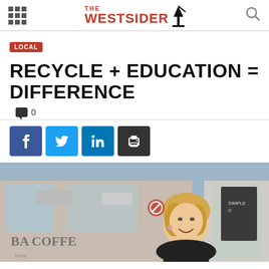THE WESTSIDER
LOCAL
RECYCLE + EDUCATION = DIFFERENCE
0
[Figure (infographic): Social share buttons: Facebook, Twitter, LinkedIn, Print]
[Figure (photo): Woman smiling in front of a coffee shop storefront with text 'BA COFFEE' on the window]